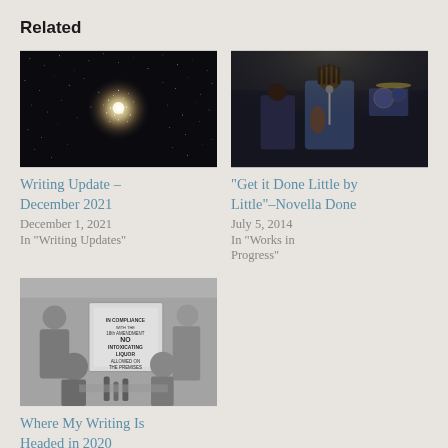Related
[Figure (photo): Star cluster / galaxy photo with bright center against dark starfield]
Writing Update – December 2021
December 1, 2021
In "Writing Updates"
[Figure (photo): Black and white / dark photo of a musician performing on stage with band]
“Get it Done Little by Little”–Novella Done
July 5, 2014
In "Works in Progress"
[Figure (photo): Black and white historical photo of people with a sign reading NO INTOXICATING LIQUOR ALLOWED ON THE PREMISES]
Where My Writing Is Headed in 2020
January 1, 2020